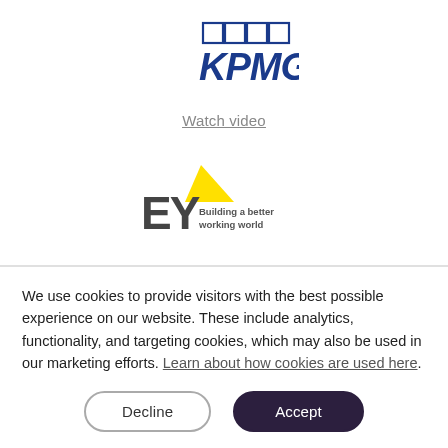[Figure (logo): KPMG logo — dark blue stylized K P M G letters with rectangular grid marks above]
Watch video
[Figure (logo): EY logo — yellow triangle/arrow shape with EY letters and text 'Building a better working world']
We use cookies to provide visitors with the best possible experience on our website. These include analytics, functionality, and targeting cookies, which may also be used in our marketing efforts. Learn about how cookies are used here.